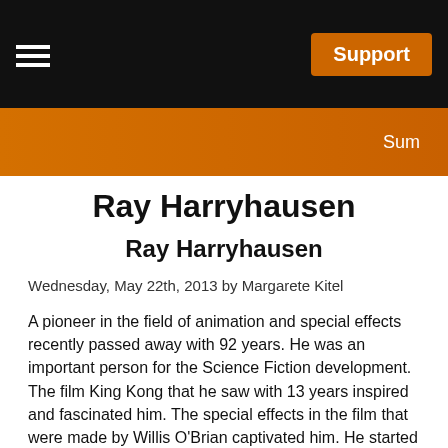Support
Ray Harryhausen
Ray Harryhausen
Wednesday, May 22th, 2013 by Margarete Kitel
A pioneer in the field of animation and special effects recently passed away with 92 years. He was an important person for the Science Fiction development.
The film King Kong that he saw with 13 years inspired and fascinated him. The special effects in the film that were made by Willis O'Brian captivated him. He started to create his own figurines and practiced the stop-motion technique at a young age. He got in touch with Willis O'Brian who tought him.
Willis O'Brian employed Ray Harryhausen as his assistant for the production of Mighty Joe Young. He studied gorillas at the